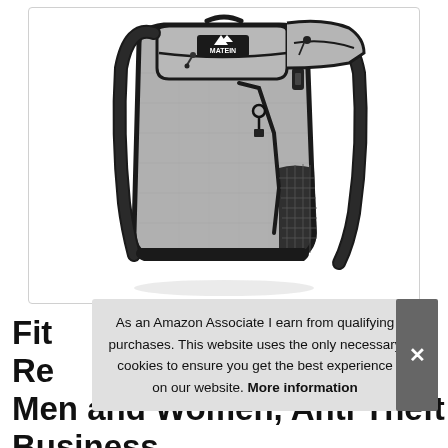[Figure (photo): Grey MATEIN brand backpack with black zippers, multiple compartments, mesh side pocket, and black shoulder straps, shown against a white background inside a light grey border box.]
Fit Re Men and Women, Anti Theft Business
As an Amazon Associate I earn from qualifying purchases. This website uses the only necessary cookies to ensure you get the best experience on our website. More information